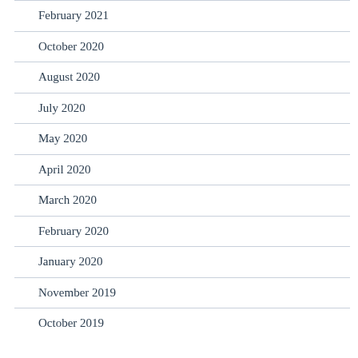February 2021
October 2020
August 2020
July 2020
May 2020
April 2020
March 2020
February 2020
January 2020
November 2019
October 2019